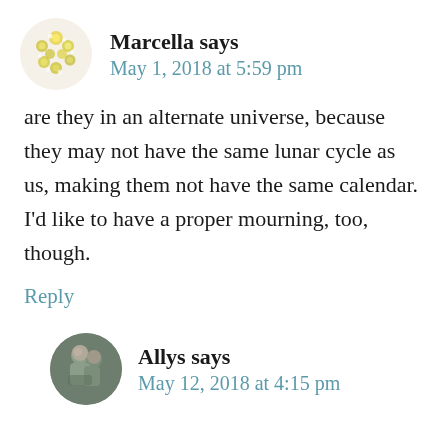Marcella says
May 1, 2018 at 5:59 pm
are they in an alternate universe, because they may not have the same lunar cycle as us, making them not have the same calendar. I'd like to have a proper mourning, too, though.
Reply
Allys says
May 12, 2018 at 4:15 pm